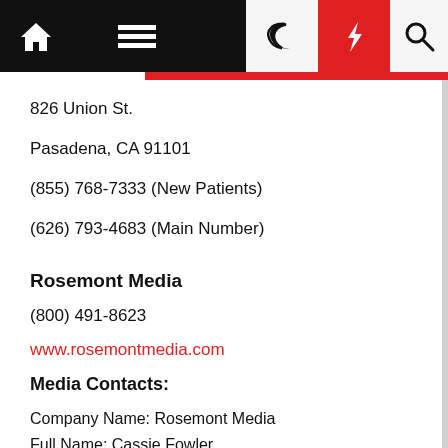[Figure (screenshot): Navigation bar with home icon, hamburger menu, dark/night mode toggle, lightning bolt (red button), and search icon]
826 Union St.
Pasadena, CA 91101
(855) 768-7333 (New Patients)
(626) 793-4683 (Main Number)
Rosemont Media
(800) 491-8623
www.rosemontmedia.com
Media Contacts:
Company Name: Rosemont Media
Full Name: Cassie Fowler